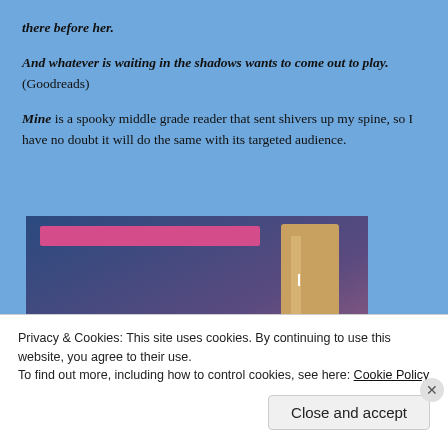there before her.
And whatever is waiting in the shadows wants to come out to play. (Goodreads)
Mine is a spooky middle grade reader that sent shivers up my spine, so I have no doubt it will do the same with its targeted audience.
[Figure (illustration): Partial book cover image showing a dark blue-to-purple gradient background with a pink horizontal bar near the top and a tan/brown door shape on the right side. A circular logo with a 'W' is partially visible at the bottom left.]
Privacy & Cookies: This site uses cookies. By continuing to use this website, you agree to their use.
To find out more, including how to control cookies, see here: Cookie Policy
Close and accept